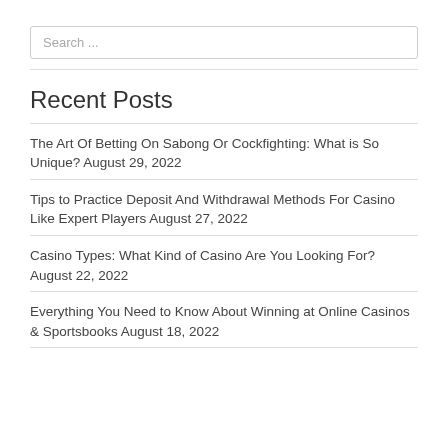Search ...
Recent Posts
The Art Of Betting On Sabong Or Cockfighting: What is So Unique? August 29, 2022
Tips to Practice Deposit And Withdrawal Methods For Casino Like Expert Players August 27, 2022
Casino Types: What Kind of Casino Are You Looking For? August 22, 2022
Everything You Need to Know About Winning at Online Casinos & Sportsbooks August 18, 2022